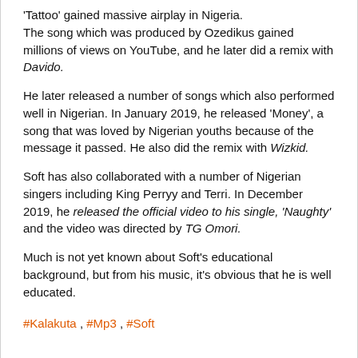'Tattoo' gained massive airplay in Nigeria. The song which was produced by Ozedikus gained millions of views on YouTube, and he later did a remix with Davido.
He later released a number of songs which also performed well in Nigerian. In January 2019, he released 'Money', a song that was loved by Nigerian youths because of the message it passed. He also did the remix with Wizkid.
Soft has also collaborated with a number of Nigerian singers including King Perryy and Terri. In December 2019, he released the official video to his single, 'Naughty' and the video was directed by TG Omori.
Much is not yet known about Soft's educational background, but from his music, it's obvious that he is well educated.
#Kalakuta , #Mp3 , #Soft